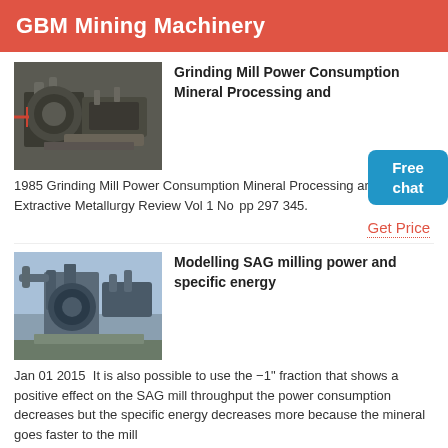GBM Mining Machinery
Grinding Mill Power Consumption Mineral Processing and
1985 Grinding Mill Power Consumption Mineral Processing and Extractive Metallurgy Review Vol 1 No pp 297 345.
Get Price
Modelling SAG milling power and specific energy
Jan 01 2015  It is also possible to use the −1" fraction that shows a positive effect on the SAG mill throughput the power consumption decreases but the specific energy decreases more because the mineral goes faster to the mill